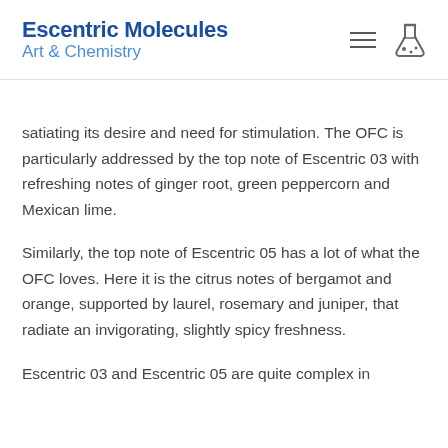Escentric Molecules Art & Chemistry
satiating its desire and need for stimulation. The OFC is particularly addressed by the top note of Escentric 03 with refreshing notes of ginger root, green peppercorn and Mexican lime.
Similarly, the top note of Escentric 05 has a lot of what the OFC loves. Here it is the citrus notes of bergamot and orange, supported by laurel, rosemary and juniper, that radiate an invigorating, slightly spicy freshness.
Escentric 03 and Escentric 05 are quite complex in